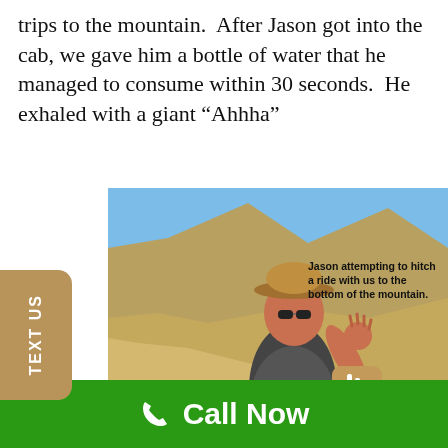trips to the mountain.  After Jason got into the cab, we gave him a bottle of water that he managed to consume within 30 seconds.  He exhaled with a giant “Ahhha”
[Figure (photo): Photo of a man in a hat and sunglasses waving, standing outside a blue vehicle in a desert mountain landscape. Caption reads: Jason attempting to hitch a ride with us to the bottom of the mountain. A chat widget with an online agent avatar overlays the bottom right corner.]
Call Now